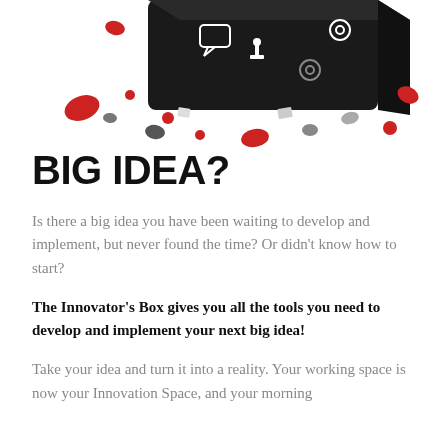[Figure (photo): A black box decorated with white icons (speech bubbles, gears, chess pieces) with red and gray decorative elements scattered around it on a white background, viewed from a slightly elevated angle.]
BIG IDEA?
Is there a big idea you have been waiting to develop and implement, but never found the time? Or didn't know how to start?
The Innovator's Box gives you all the tools you need to develop and implement your next big idea!
Take your idea and turn it into a reality. Your working space is now your Innovation Space, and your morning